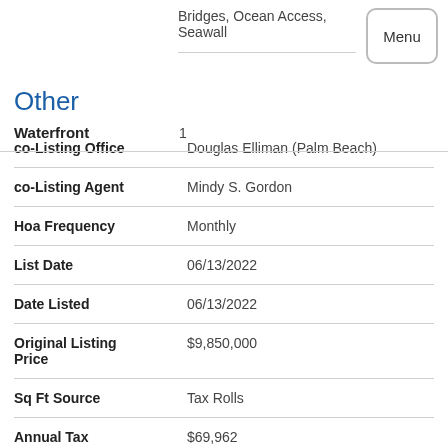Bridges, Ocean Access, Seawall
| Field | Value |
| --- | --- |
| Waterfront | 1 |
| co-Listing Office | Douglas Elliman (Palm Beach) |
| co-Listing Agent | Mindy S. Gordon |
| Hoa Frequency | Monthly |
| List Date | 06/13/2022 |
| Date Listed | 06/13/2022 |
| Original Listing Price | $9,850,000 |
| Sq Ft Source | Tax Rolls |
| Annual Tax | $69,962 |
Other